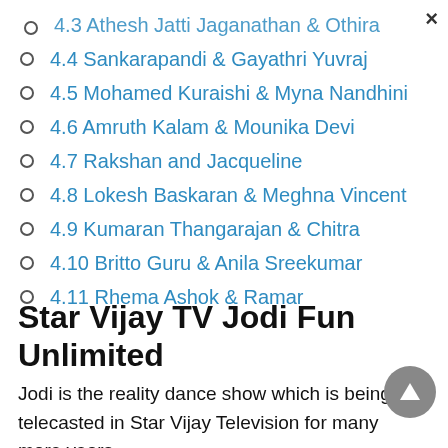4.3 Athesh Jatti Jaganathan & Othira
4.4 Sankarapandi & Gayathri Yuvraj
4.5 Mohamed Kuraishi & Myna Nandhini
4.6 Amruth Kalam & Mounika Devi
4.7 Rakshan and Jacqueline
4.8 Lokesh Baskaran & Meghna Vincent
4.9 Kumaran Thangarajan & Chitra
4.10 Britto Guru & Anila Sreekumar
4.11 Rhema Ashok & Ramar
Star Vijay TV Jodi Fun Unlimited
Jodi is the reality dance show which is being telecasted in Star Vijay Television for many more years.